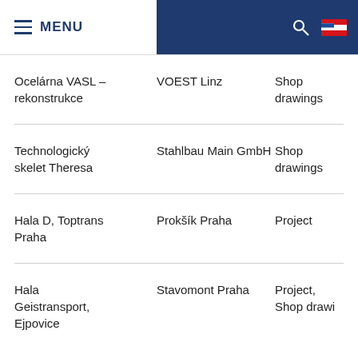MENU
| Project | Client | Type |
| --- | --- | --- |
| Ocelárna VASL – rekonstrukce | VOEST Linz | Shop drawings |
| Technologický skelet Theresa | Stahlbau Main GmbH | Shop drawings |
| Hala D, Toptrans Praha | Prokšík Praha | Project |
| Hala Geistransport, Ejpovice | Stavomont Praha | Project, Shop drawings |